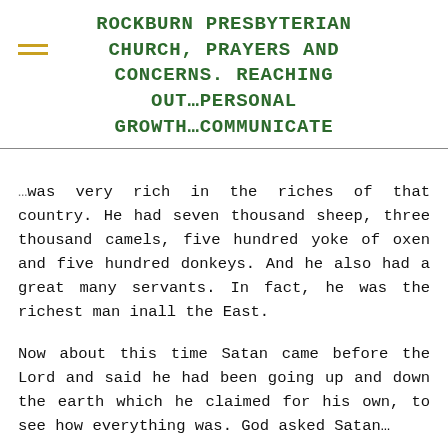ROCKBURN PRESBYTERIAN CHURCH, PRAYERS AND CONCERNS. REACHING OUT…PERSONAL GROWTH…COMMUNICATE
…was very rich in the riches of that country. He had seven thousand sheep, three thousand camels, five hundred yoke of oxen and five hundred donkeys. And he also had a great many servants. In fact, he was the richest man inall the East.
Now about this time Satan came before the Lord and said he had been going up and down the earth which he claimed for his own, to see how everything was. God asked Satan…